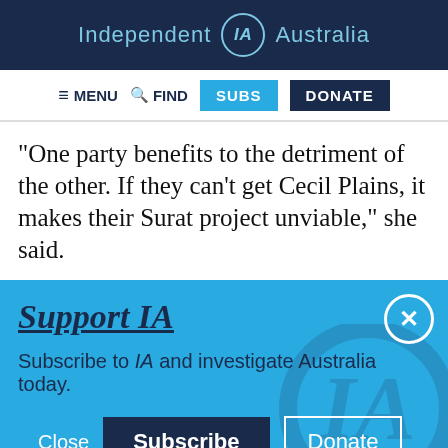Independent IA Australia
[Figure (screenshot): Navigation bar with MENU, FIND, SUBS (blue button), DONATE (dark button)]
“One party benefits to the detriment of the other. If they can’t get Cecil Plains, it makes their Surat project unviable,” she said.
Support IA
Subscribe to IA and investigate Australia today.
Twitter, Facebook, LinkedIn, Flipboard, Link, Plus social icons